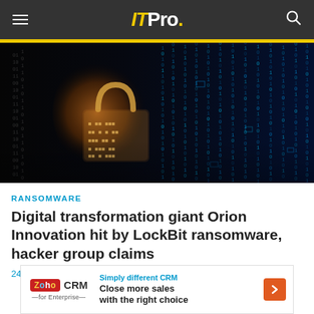ITPro.
[Figure (photo): Cybersecurity themed hero image showing a glowing digital padlock with binary/matrix code on dark background, left side warm orange glow, right side blue digital rain]
RANSOMWARE
Digital transformation giant Orion Innovation hit by LockBit ransomware, hacker group claims
24 Aug 2022
[Figure (other): Advertisement banner for Zoho CRM for Enterprise: 'Simply different CRM - Close more sales with the right choice']